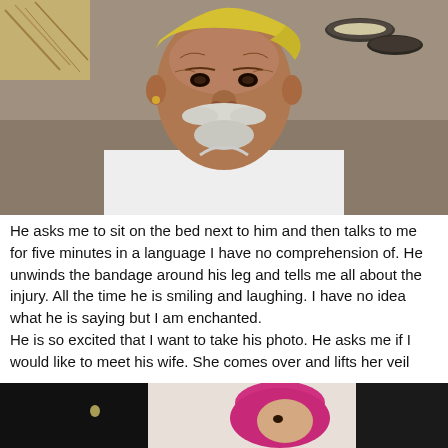[Figure (photo): Portrait of an elderly Indian man with a large white mustache, wearing a white shirt, smiling, seated outdoors with bowls and hay visible in the background.]
He asks me to sit on the bed next to him and then talks to me for five minutes in a language I have no comprehension of. He unwinds the bandage around his leg and tells me all about the injury. All the time he is smiling and laughing. I have no idea what he is saying but I am enchanted.
He is so excited that I want to take his photo. He asks me if I would like to meet his wife. She comes over and lifts her veil
[Figure (photo): Partial photo showing a woman in a pink head covering, partially visible, against a light background.]